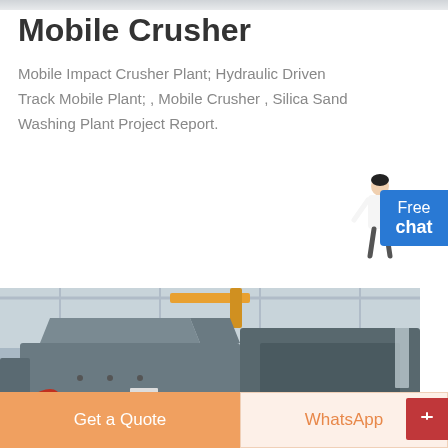Mobile Crusher
Mobile Impact Crusher Plant; Hydraulic Driven Track Mobile Plant; , Mobile Crusher , Silica Sand Washing Plant Project Report.
[Figure (other): Pink 'MORE' button]
[Figure (other): Blue 'Free chat' button with person illustration]
[Figure (photo): Industrial mobile crusher machine equipment in a factory setting, large grey metal crushing machinery]
[Figure (other): Bottom action bar with orange 'Get a Quote' button and WhatsApp button, and a red scroll button]